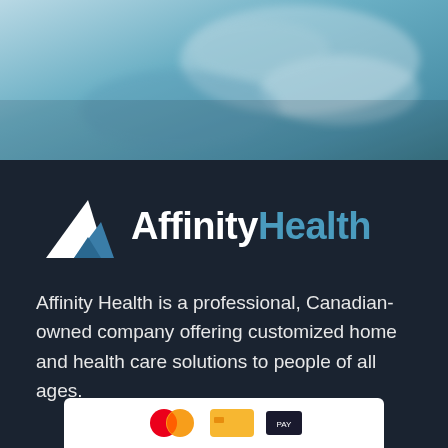[Figure (photo): Blurred teal/blue photo of hands, likely a caregiver holding a patient's hand, serving as a header banner image]
[Figure (logo): Affinity Health logo: white triangle/mountain icon with teal accent triangle, beside text 'AffinityHealth' in white and teal]
Affinity Health is a professional, Canadian-owned company offering customized home and health care solutions to people of all ages.
[Figure (other): Payment method icons bar at bottom showing Mastercard and other payment logos on white background]